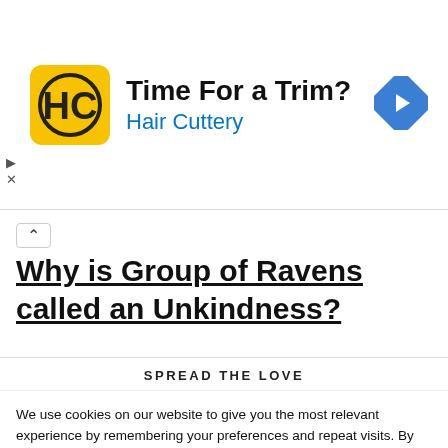[Figure (advertisement): Hair Cuttery ad banner with yellow logo icon and blue navigation arrow icon. Text: 'Time For a Trim?' and 'Hair Cuttery']
Why is Group of Ravens called an Unkindness?
SPREAD THE LOVE
We use cookies on our website to give you the most relevant experience by remembering your preferences and repeat visits. By clicking "Accept All", you consent to the use of ALL the cookies. However, you may visit "Cookie Settings" to provide a controlled consent.